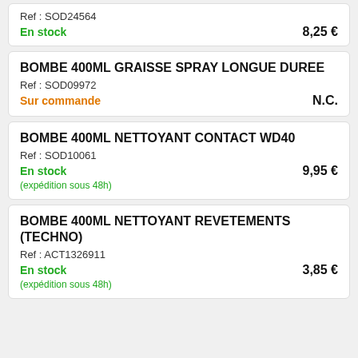Ref : SOD24564
En stock
8,25 €
BOMBE 400ML GRAISSE SPRAY LONGUE DUREE
Ref : SOD09972
Sur commande
N.C.
BOMBE 400ML NETTOYANT CONTACT WD40
Ref : SOD10061
En stock
9,95 €
(expédition sous 48h)
BOMBE 400ML NETTOYANT REVETEMENTS (TECHNO)
Ref : ACT1326911
En stock
3,85 €
(expédition sous 48h)